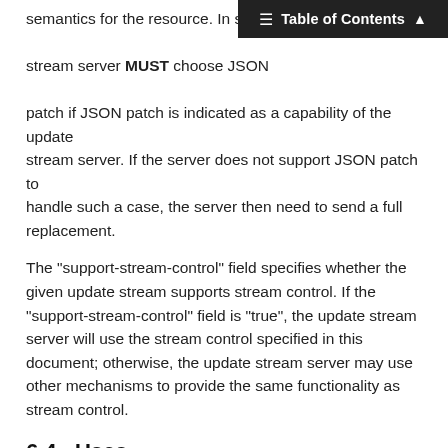Table of Contents
semantics for the resource. In su... stream server MUST choose JSON... patch if JSON patch is indicated as a capability of the update stream server. If the server does not support JSON patch to handle such a case, the server then need to send a full replacement.
The "support-stream-control" field specifies whether the given update stream supports stream control. If the "support-stream-control" field is "true", the update stream server will use the stream control specified in this document; otherwise, the update stream server may use other mechanisms to provide the same functionality as stream control.
6.4. Uses
The "uses" attribute MUST be an array with the resource-ids of every resource for which this update stream can provide updates. Each resource specified in the "uses" MUST support full replacement; the update stream server can always send full replacement, and the ALTO client MUST accept full